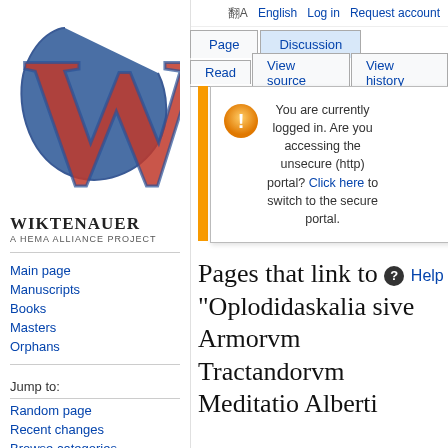[Figure (logo): Wiktenauer logo: stylized red and blue W letter with serif style]
WIKTENAUER
A HEMA ALLIANCE PROJECT
Main page
Manuscripts
Books
Masters
Orphans
Jump to:
Random page
Recent changes
Browse categories
Rules of the wiki
Help
Community:
English  Log in  Request account
Page  Discussion
Read  View source  View history  Search
You are currently logged in. Are you accessing the unsecure (http) portal? Click here to switch to the secure portal.
Pages that link to "Oplodidaskalia sive Armorvm Tractandorvm Meditatio Alberti